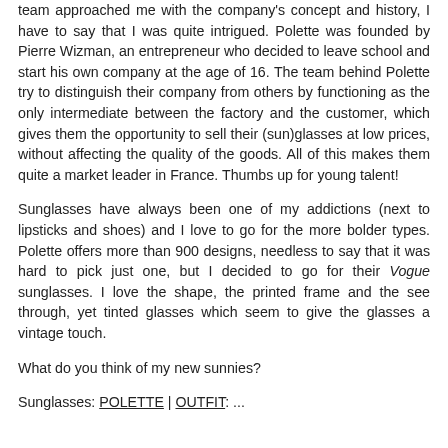team approached me with the company's concept and history, I have to say that I was quite intrigued. Polette was founded by Pierre Wizman, an entrepreneur who decided to leave school and start his own company at the age of 16. The team behind Polette try to distinguish their company from others by functioning as the only intermediate between the factory and the customer, which gives them the opportunity to sell their (sun)glasses at low prices, without affecting the quality of the goods. All of this makes them quite a market leader in France. Thumbs up for young talent!
Sunglasses have always been one of my addictions (next to lipsticks and shoes) and I love to go for the more bolder types. Polette offers more than 900 designs, needless to say that it was hard to pick just one, but I decided to go for their Vogue sunglasses. I love the shape, the printed frame and the see through, yet tinted glasses which seem to give the glasses a vintage touch.
What do you think of my new sunnies?
Sunglasses: POLETTE | OUTFIT: ...